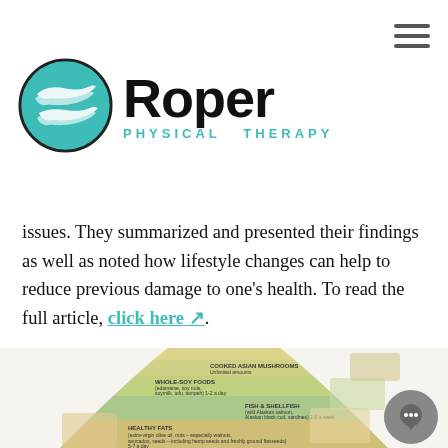[Figure (logo): Roper Physical Therapy logo with teal circle and two hands, and the text 'Roper PHYSICAL THERAPY']
issues. They summarized and presented their findings as well as noted how lifestyle changes can help to reduce previous damage to one's health. To read the full article, click here ↗.
[Figure (infographic): Anti-inflammatory diet pyramid infographic showing layers from bottom to top: Healthy Fats (extra-virgin olive oil, nuts - especially walnuts, avocados, seeds - including hemp seeds and freshly ground flaxseeds) 5-7 a day; Fish & Shellfish (wild Alaskan salmon, Alaskan black cod, sardines) 2-6 a week; Whole-Soy Foods (edamame, soy nuts, soymilk, tofu, tempeh) 1-2 a day; Cooked Asian Mushrooms; Other Sources of Protein (dairy - natural cheeses, yogurt-, omega-3 enriched eggs, skinless poultry, lean meats) 1-2 a week; Healthy Herbs & Spices (such as garlic, ginger, turmeric, cinnamon) unlimited amounts; Tea (white, green, oolong) 2-4 cups a day; Supplements Daily; Red Wine (optional) No more than 1-2 glasses a day; Healthy Sweets (such as plain dark chocolate) sparingly]